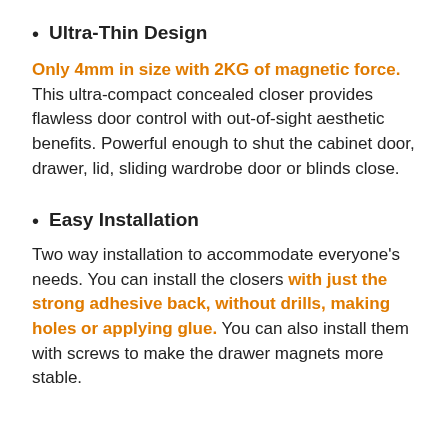Ultra-Thin Design
Only 4mm in size with 2KG of magnetic force. This ultra-compact concealed closer provides flawless door control with out-of-sight aesthetic benefits. Powerful enough to shut the cabinet door, drawer, lid, sliding wardrobe door or blinds close.
Easy Installation
Two way installation to accommodate everyone's needs. You can install the closers with just the strong adhesive back, without drills, making holes or applying glue. You can also install them with screws to make the drawer magnets more stable.